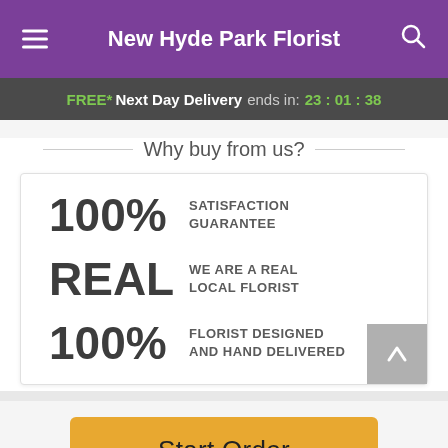New Hyde Park Florist
FREE* Next Day Delivery ends in: 23:01:38
Why buy from us?
100% SATISFACTION GUARANTEE
REAL WE ARE A REAL LOCAL FLORIST
100% FLORIST DESIGNED AND HAND DELIVERED
Start Order